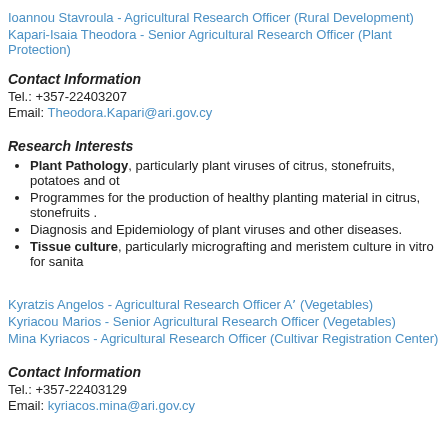Ioannou Stavroula - Agricultural Research Officer (Rural Development)
Kapari-Isaia Theodora - Senior Agricultural Research Officer (Plant Protection)
Contact Information
Tel.: +357-22403207
Email: Theodora.Kapari@ari.gov.cy
Research Interests
Plant Pathology, particularly plant viruses of citrus, stonefruits, potatoes and ot
Programmes for the production of healthy planting material in citrus, stonefruits .
Diagnosis and Epidemiology of plant viruses and other diseases.
Tissue culture, particularly micrografting and meristem culture in vitro for sanita
Kyratzis Angelos - Agricultural Research Officer Aʹ (Vegetables)
Kyriacou Marios - Senior Agricultural Research Officer (Vegetables)
Mina Kyriacos - Agricultural Research Officer (Cultivar Registration Center)
Contact Information
Tel.: +357-22403129
Email: kyriacos.mina@ari.gov.cy